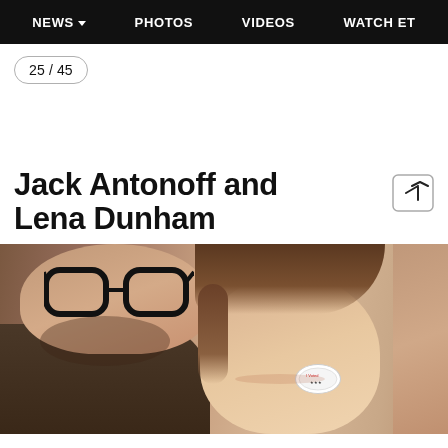NEWS  PHOTOS  VIDEOS  WATCH ET
25 / 45
Jack Antonoff and Lena Dunham
[Figure (photo): Close-up selfie photo of Jack Antonoff wearing dark-rimmed glasses and Lena Dunham smiling with a sticker on her cheek, with a third person partially visible on the far right]